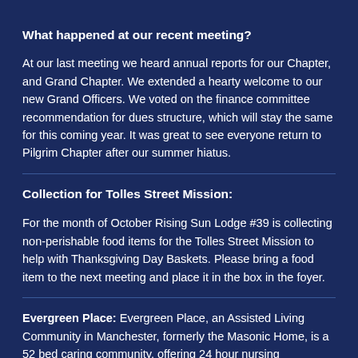What happened at our recent meeting?
At our last meeting we heard annual reports for our Chapter, and Grand Chapter. We extended a hearty welcome to our new Grand Officers. We voted on the finance committee recommendation for dues structure, which will stay the same for this coming year. It was great to see everyone return to Pilgrim Chapter after our summer hiatus.
Collection for Tolles Street Mission:
For the month of October Rising Sun Lodge #39 is collecting non-perishable food items for the Tolles Street Mission to help with Thanksgiving Day Baskets. Please bring a food item to the next meeting and place it in the box in the foyer.
Evergreen Place: Evergreen Place, an Assisted Living Community in Manchester, formerly the Masonic Home, is a 52 bed caring community, offering 24 hour nursing